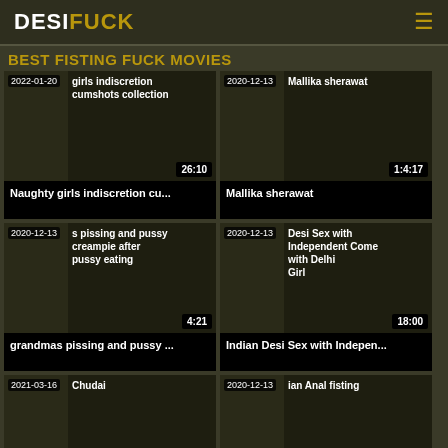DESIFUCK
BEST FISTING FUCK MOVIES
[Figure (screenshot): Video thumbnail - Naughty girls indiscretion cumshots collection, date 2022-01-20, duration 26:10]
Naughty girls indiscretion cu...
[Figure (screenshot): Video thumbnail - Mallika sherawat, date 2020-12-13, duration 1:4:17]
Mallika sherawat
[Figure (screenshot): Video thumbnail - grandmas pissing and pussy creampie after pussy eating, date 2020-12-13, duration 4:21]
grandmas pissing and pussy ...
[Figure (screenshot): Video thumbnail - Indian Desi Sex with Independent Come with Delhi Girl, date 2020-12-13, duration 18:00]
Indian Desi Sex with Indepen...
[Figure (screenshot): Video thumbnail - Fisting Chudai, date 2021-03-16, duration 11:41]
[Figure (screenshot): Video thumbnail - British Indian Anal fisting, date 2020-12-13, duration 10:15]